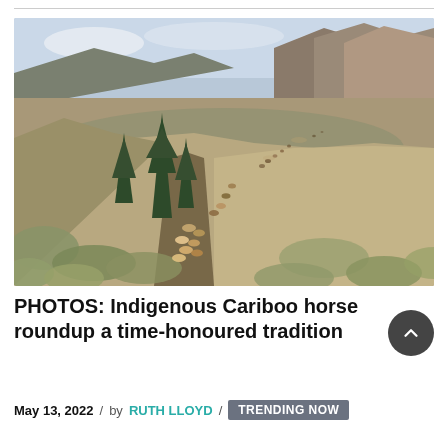[Figure (photo): Aerial view of a horse roundup in the Cariboo region, showing a herd of horses being driven along a dry hillside trail flanked by evergreen trees and sagebrush, with mountains and valleys in the background.]
PHOTOS: Indigenous Cariboo horse roundup a time-honoured tradition
May 13, 2022 / by RUTH LLOYD / TRENDING NOW